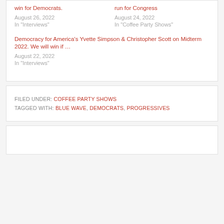win for Democrats.
August 26, 2022
In 'Interviews'
run for Congress
August 24, 2022
In 'Coffee Party Shows'
Democracy for America's Yvette Simpson & Christopher Scott on Midterm 2022. We will win if …
August 22, 2022
In 'Interviews'
FILED UNDER: COFFEE PARTY SHOWS
TAGGED WITH: BLUE WAVE, DEMOCRATS, PROGRESSIVES